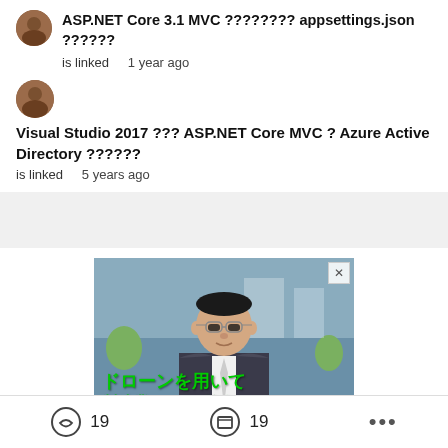ASP.NET Core 3.1 MVC ???????? appsettings.json ?????? is linked  1 year ago
Visual Studio 2017 ??? ASP.NET Core MVC ? Azure Active Directory ?????? is linked  5 years ago
[Figure (photo): Advertisement photo of a man in a suit with glasses, with Japanese text overlay in green: ドローンを用いて 製造業のDXを推進]
19  19  ...